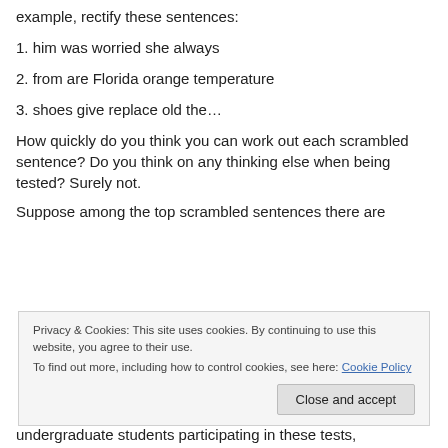Have you submitted to a scrambled sentence test? For example, rectify these sentences:
1. him was worried she always
2. from are Florida orange temperature
3. shoes give replace old the…
How quickly do you think you can work out each scrambled sentence? Do you think on any thinking else when being tested? Surely not.
Suppose among the top scrambled sentences there are
Privacy & Cookies: This site uses cookies. By continuing to use this website, you agree to their use.
To find out more, including how to control cookies, see here: Cookie Policy
undergraduate students participating in these tests,